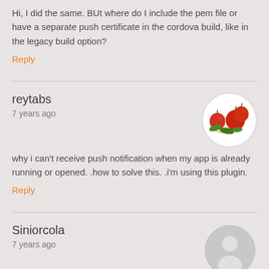Hi, I did the same. BUt where do I include the pem file or have a separate push certificate in the cordova build, like in the legacy build option?
Reply
reytabs
7 years ago
[Figure (photo): Circular avatar image showing red apples with green leaves]
why i can't receive push notification when my app is already running or opened. .how to solve this. .i'm using this plugin.
Reply
Siniorcola
7 years ago
[Figure (illustration): Circular grey avatar with white silhouette of a person]